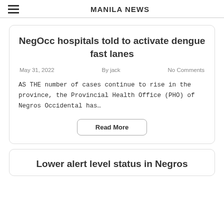MANILA NEWS
NegOcc hospitals told to activate dengue fast lanes
May 31, 2022   By jack   No Comments
AS THE number of cases continue to rise in the province, the Provincial Health Office (PHO) of Negros Occidental has…
Read More
Lower alert level status in Negros